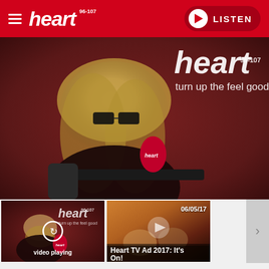heart 96-107 — LISTEN
[Figure (screenshot): Heart radio website screenshot showing a woman with glasses and blonde hair at a radio studio microphone with Heart 96-107 branding and 'turn up the feel good!' tagline on a dark red background]
[Figure (screenshot): Thumbnail of currently playing video showing heart radio studio scene with replay icon and 'video playing' label]
video playing
[Figure (screenshot): Thumbnail showing Heart TV Ad 2017 with people in a car, dated 06/05/17]
Heart TV Ad 2017: It's On!